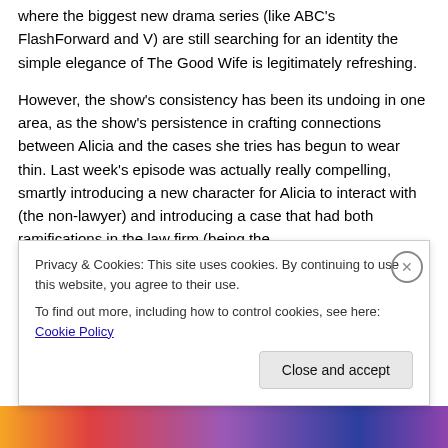where the biggest new drama series (like ABC's FlashForward and V) are still searching for an identity the simple elegance of The Good Wife is legitimately refreshing.
However, the show's consistency has been its undoing in one area, as the show's persistence in crafting connections between Alicia and the cases she tries has begun to wear thin. Last week's episode was actually really compelling, smartly introducing a new character for Alicia to interact with (the non-lawyer) and introducing a case that had both ramifications in the law firm (being the
Privacy & Cookies: This site uses cookies. By continuing to use this website, you agree to their use.
To find out more, including how to control cookies, see here: Cookie Policy